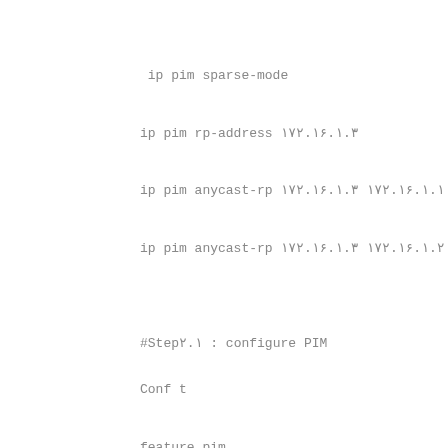ip pim sparse-mode
ip pim rp-address ۱۷۲.۱۶.۱.۳
ip pim anycast-rp ۱۷۲.۱۶.۱.۳ ۱۷۲.۱۶.۱.۱
ip pim anycast-rp ۱۷۲.۱۶.۱.۳ ۱۷۲.۱۶.۱.۲
#Step۲.۱ : configure PIM
Conf t
feature pim